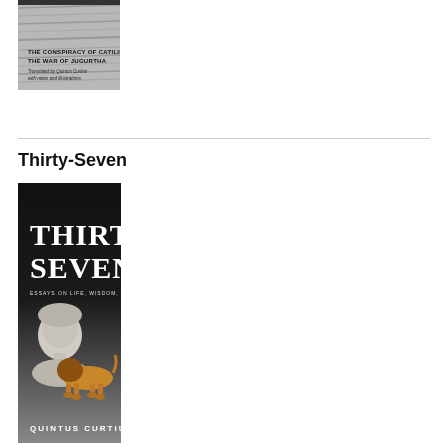[Figure (photo): Book cover: The Conspiracy of Catiline and The War of Jugurtha, translated by Quintus Curtius with notes and illustrations. Shows a grey architectural stone surface background.]
[Figure (photo): Book cover: Thirty Seven - Essays On Life, Wisdom, and Masculinity by Quintus Curtius. Dark gradient background with white serif title text, showing a marble bust of Marcus Aurelius and a bronze lion sculpture.]
Thirty-Seven